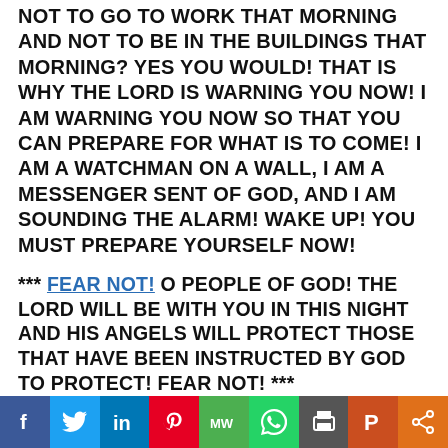NOT TO GO TO WORK THAT MORNING AND NOT TO BE IN THE BUILDINGS THAT MORNING? YES YOU WOULD! THAT IS WHY THE LORD IS WARNING YOU NOW! I AM WARNING YOU NOW SO THAT YOU CAN PREPARE FOR WHAT IS TO COME! I AM A WATCHMAN ON A WALL, I AM A MESSENGER SENT OF GOD, AND I AM SOUNDING THE ALARM! WAKE UP! YOU MUST PREPARE YOURSELF NOW!
*** FEAR NOT! O PEOPLE OF GOD! THE LORD WILL BE WITH YOU IN THIS NIGHT AND HIS ANGELS WILL PROTECT THOSE THAT HAVE BEEN INSTRUCTED BY GOD TO PROTECT! FEAR NOT! ***
[Figure (infographic): Social media sharing bar with icons for Facebook (blue), Twitter (light blue), LinkedIn (dark blue), Pinterest (red), MeWe (green), WhatsApp (green), Print (dark grey), Parler (orange-brown), Share (orange)]